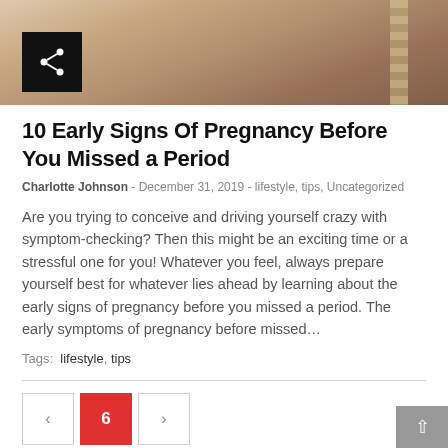[Figure (photo): Photo of a pregnant woman with a measuring tape, muted warm tones]
10 Early Signs Of Pregnancy Before You Missed a Period
Charlotte Johnson - December 31, 2019 - lifestyle, tips, Uncategorized
Are you trying to conceive and driving yourself crazy with symptom-checking? Then this might be an exciting time or a stressful one for you! Whatever you feel, always prepare yourself best for whatever lies ahead by learning about the early signs of pregnancy before you missed a period. The early symptoms of pregnancy before missed…
Tags: lifestyle, tips